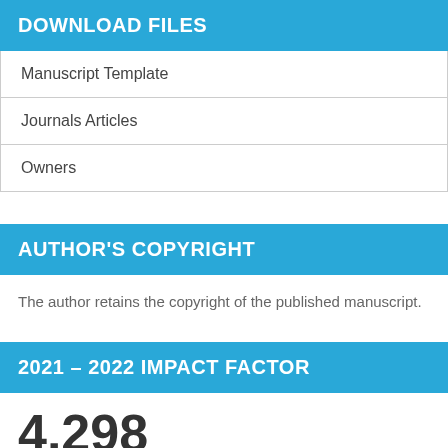DOWNLOAD FILES
Manuscript Template
Journals Articles
Owners
AUTHOR'S COPYRIGHT
The author retains the copyright of the published manuscript.
2021 – 2022 IMPACT FACTOR
4.298